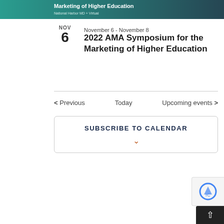[Figure (illustration): Banner for 2022 AMA Symposium for the Marketing of Higher Education with teal gradient background, event title in white bold text, and location 'National Harbor MD + Virtual' in smaller white text]
November 6 - November 8
2022 AMA Symposium for the Marketing of Higher Education
< Previous   Today   Upcoming events >
SUBSCRIBE TO CALENDAR